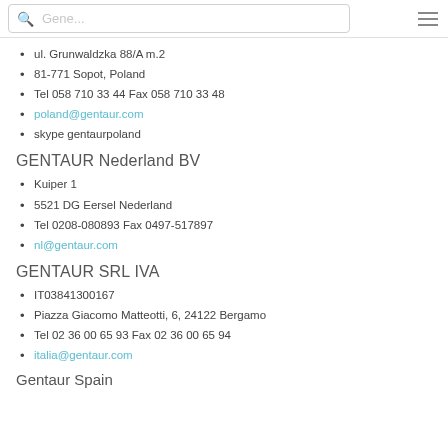Gene... [search bar]
ul. Grunwaldzka 88/A m.2
81-771 Sopot, Poland
Tel 058 710 33 44 Fax 058 710 33 48
poland@gentaur.com
skype gentaurpoland
GENTAUR Nederland BV
Kuiper 1
5521 DG Eersel Nederland
Tel 0208-080893 Fax 0497-517897
nl@gentaur.com
GENTAUR SRL IVA
IT03841300167
Piazza Giacomo Matteotti, 6, 24122 Bergamo
Tel 02 36 00 65 93 Fax 02 36 00 65 94
italia@gentaur.com
Gentaur Spain